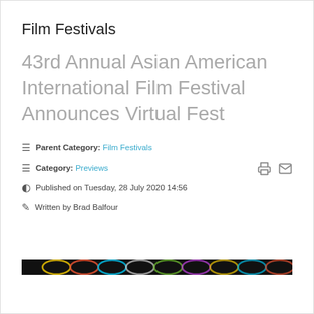Film Festivals
43rd Annual Asian American International Film Festival Announces Virtual Fest
≡ Parent Category: Film Festivals
≡ Category: Previews
⊙ Published on Tuesday, 28 July 2020 14:56
✏ Written by Brad Balfour
[Figure (photo): Dark banner image with colored circular overlapping rings on black background — appears to be a film festival logo or promotional image strip]